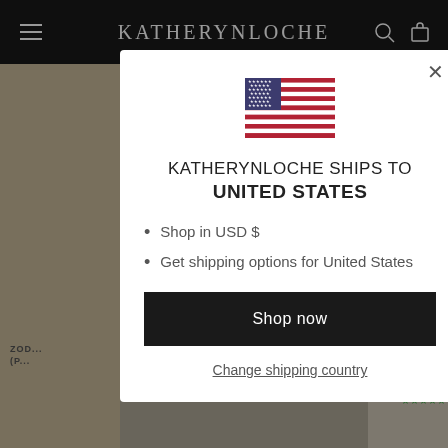KATHERYNLOCHE
[Figure (screenshot): Modal dialog showing US flag, shipping info for United States, with 'Shop now' button and 'Change shipping country' link]
KATHERYNLOCHE SHIPS TO UNITED STATES
Shop in USD $
Get shipping options for United States
Shop now
Change shipping country